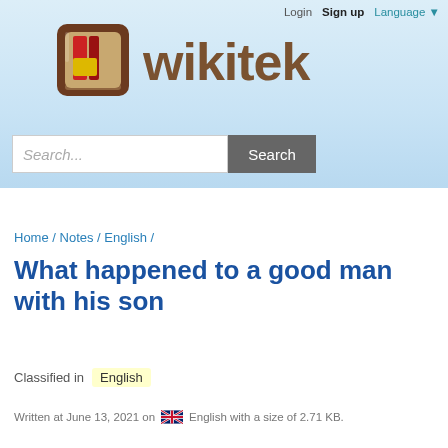Login  Sign up  Language ▼
[Figure (logo): Wikiteka logo: a brown square icon with coloured book spines and the text 'wikiteka' in brown sans-serif]
[Figure (other): Search bar with placeholder 'Search...' and a grey Search button]
Home / Notes / English /
What happened to a good man with his son
Classified in  English
Written at June 13, 2021 on  English with a size of 2.71 KB.